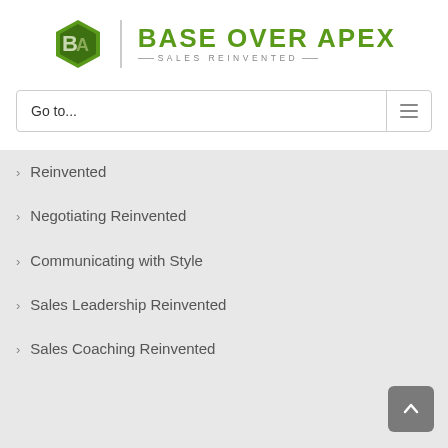[Figure (logo): Base Over Apex - Sales Reinvented company logo with green hexagonal icon and text]
Go to...
Reinvented
Negotiating Reinvented
Communicating with Style
Sales Leadership Reinvented
Sales Coaching Reinvented